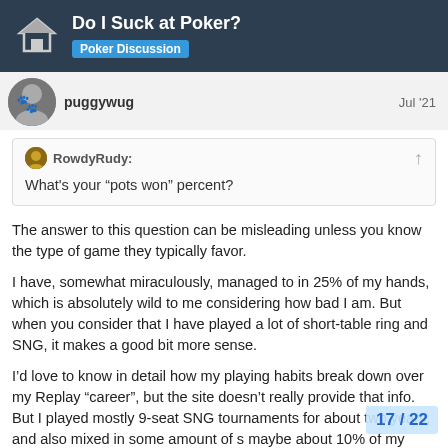Do I Suck at Poker? | Poker Discussion
puggywug   Jul '21
RowdyRudy:
What's your "pots won" percent?
The answer to this question can be misleading unless you know the type of game they typically favor.
I have, somewhat miraculously, managed to in 25% of my hands, which is absolutely wild to me considering how bad I am. But when you consider that I have played a lot of short-table ring and SNG, it makes a good bit more sense.
I'd love to know in detail how my playing habits break down over my Replay “career”, but the site doesn’t really provide that info. But I played mostly 9-seat SNG tournaments for about two years, and also mixed in some amount of s maybe about 10% of my SNGs during that
17 / 22